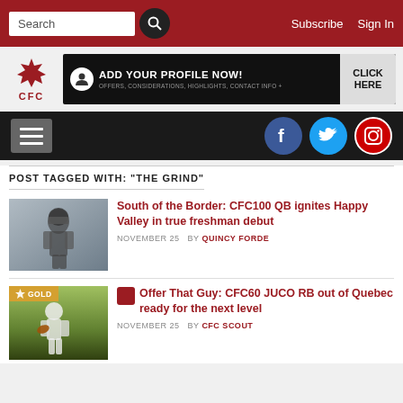Search | Subscribe | Sign In
[Figure (logo): CFC (Canadian Football Club) logo with maple leaf, and advertisement banner: ADD YOUR PROFILE NOW! OFFERS, CONSIDERATIONS, HIGHLIGHTS, CONTACT INFO + | CLICK HERE]
[Figure (infographic): Dark navigation bar with hamburger menu on left and Facebook, Twitter, Instagram social icons on right]
POST TAGGED WITH: "THE GRIND"
[Figure (photo): Football player photo thumbnail for article about South of the Border CFC100 QB]
South of the Border: CFC100 QB ignites Happy Valley in true freshman debut
NOVEMBER 25  BY QUINCY FORDE
[Figure (photo): Football player on grass with GOLD badge overlay for CFC60 JUCO RB article]
Offer That Guy: CFC60 JUCO RB out of Quebec ready for the next level
NOVEMBER 25  BY CFC SCOUT